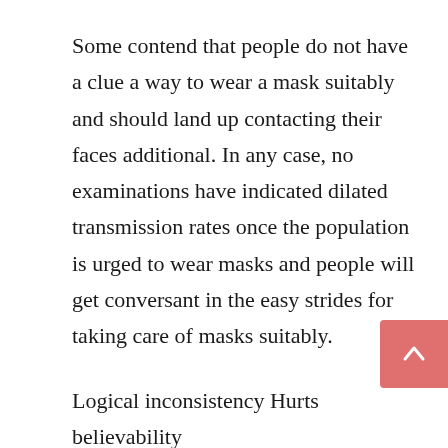Some contend that people do not have a clue a way to wear a mask suitably and should land up contacting their faces additional. In any case, no examinations have indicated dilated transmission rates once the population is urged to wear masks and people will get conversant in the easy strides for taking care of masks suitably.
Logical inconsistency Hurts believability
Dr. Adams' third parapraxis is his inability to clarify why a healthful services provider while not a mask is in peril whereas all people will stroll around sans mask and hazard free. The infection does not request to check your clinical accreditations all things thought-about, and therefore the inconsistency harms his validity. Adams have to be compelled to justify his message and issue a supply of inspiration. Masks do appear to minimize